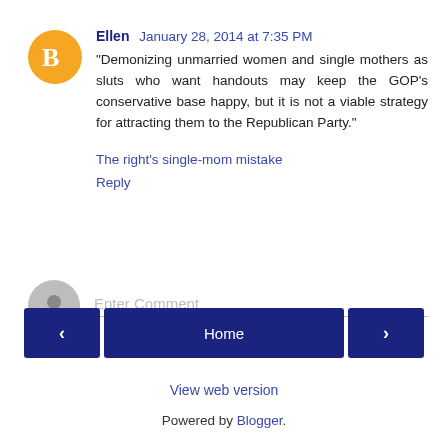Ellen  January 28, 2014 at 7:35 PM
"Demonizing unmarried women and single mothers as sluts who want handouts may keep the GOP's conservative base happy, but it is not a viable strategy for attracting them to the Republican Party."
The right's single-mom mistake
Reply
Enter Comment
Home
View web version
Powered by Blogger.